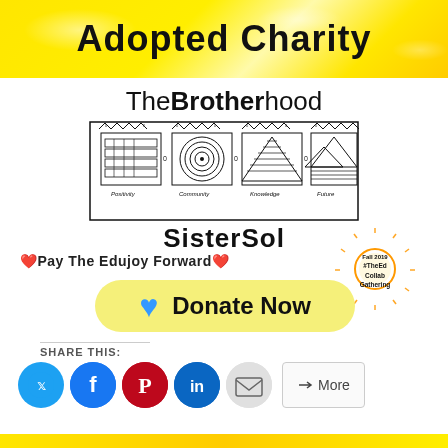Adopted Charity
[Figure (logo): TheBrotherhood SisterSol logo with four panels labeled Positivity, Community, Knowledge, Future]
❤️Pay The Edujoy Forward❤️
[Figure (infographic): Fall 2019 #TheEdCollab Gathering sun badge]
Donate Now
SHARE THIS:
Social share buttons: Twitter, Facebook, Pinterest, LinkedIn, Email, More